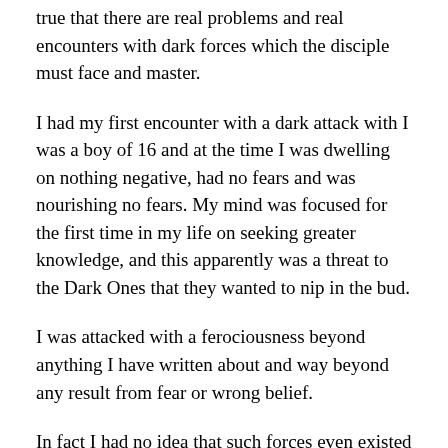true that there are real problems and real encounters with dark forces which the disciple must face and master.
I had my first encounter with a dark attack with I was a boy of 16 and at the time I was dwelling on nothing negative, had no fears and was nourishing no fears. My mind was focused for the first time in my life on seeking greater knowledge, and this apparently was a threat to the Dark Ones that they wanted to nip in the bud.
I was attacked with a ferociousness beyond anything I have written about and way beyond any result from fear or wrong belief.
In fact I had no idea that such forces even existed until I experienced them. I also had no idea of the tremendous power of the Godlike beings on the side of Light until I experienced them.
The existence of Beings on the Side of Dark and Beings on the...